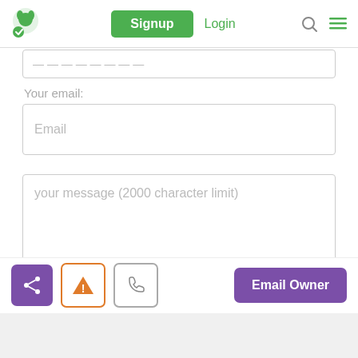[Figure (screenshot): Navigation bar with green logo, Signup button, Login link, search icon, and hamburger menu]
Your email:
[Figure (screenshot): Email input field placeholder]
[Figure (screenshot): Message textarea with placeholder text: your message (2000 character limit)]
[Figure (screenshot): Bottom action bar with share button, warning button, phone button, and Email Owner button]